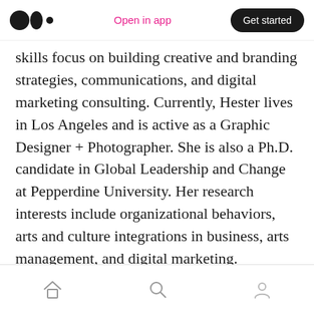Open in app | Get started
skills focus on building creative and branding strategies, communications, and digital marketing consulting. Currently, Hester lives in Los Angeles and is active as a Graphic Designer + Photographer. She is also a Ph.D. candidate in Global Leadership and Change at Pepperdine University. Her research interests include organizational behaviors, arts and culture integrations in business, arts management, and digital marketing.
> linkedin.com/in/hesterqiang/
home | search | profile